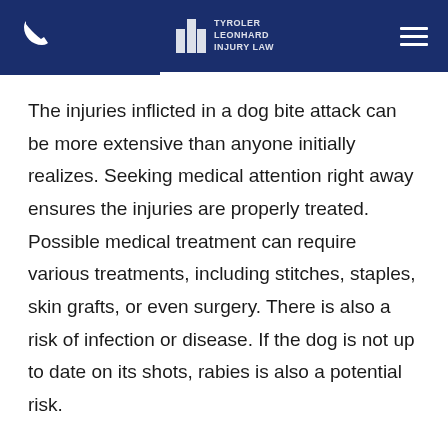Tyroler Leonhard Injury Law — navigation header
The injuries inflicted in a dog bite attack can be more extensive than anyone initially realizes. Seeking medical attention right away ensures the injuries are properly treated. Possible medical treatment can require various treatments, including stitches, staples, skin grafts, or even surgery. There is also a risk of infection or disease. If the dog is not up to date on its shots, rabies is also a potential risk.
Additionally, seeking out medical attention creates a record of the injuries. This is how a victim creates a